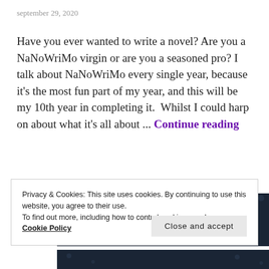september 29, 2020
Have you ever wanted to write a novel? Are you a NaNoWriMo virgin or are you a seasoned pro? I talk about NaNoWriMo every single year, because it's the most fun part of my year, and this will be my 10th year in completing it.  Whilst I could harp on about what it's all about ... Continue reading
Advertisements
[Figure (screenshot): Dark blue advertisement banner with text 'Create surveys,']
Privacy & Cookies: This site uses cookies. By continuing to use this website, you agree to their use.
To find out more, including how to control cookies, see here:
Cookie Policy
Close and accept